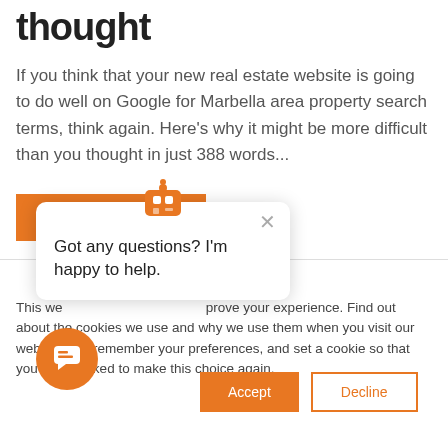thought
If you think that your new real estate website is going to do well on Google for Marbella area property search terms, think again. Here's why it might be more difficult than you thought in just 388 words...
READ MORE
This website uses cookies to improve your experience. Find out about the cookies we use and why we use them when you visit our website. We remember your preferences, and set a cookie so that you're not asked to make this choice again.
Got any questions? I'm happy to help.
Accept
Decline